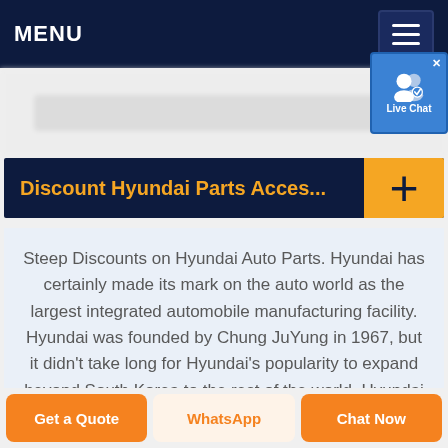MENU
[Figure (screenshot): Live Chat button overlay in top-right corner with blue background and person icon]
[Figure (screenshot): Blurred search/navigation area below the top nav bar]
Discount Hyundai Parts Acces...
Steep Discounts on Hyundai Auto Parts. Hyundai has certainly made its mark on the auto world as the largest integrated automobile manufacturing facility. Hyundai was founded by Chung JuYung in 1967, but it didn't take long for Hyundai's popularity to expand beyond South Korea to the rest of the world. Hyundai has been celebrated for quality and...
Get a Quote | WhatsApp | Chat Now